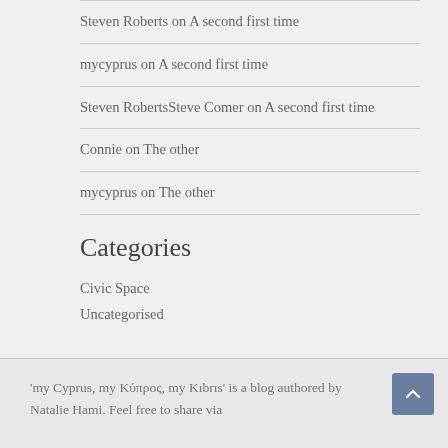Steven Roberts on A second first time
mycyprus on A second first time
Steven RobertsSteve Comer on A second first time
Connie on The other
mycyprus on The other
Categories
Civic Space
Uncategorised
'my Cyprus, my Κύπρος, my Kıbrıs' is a blog authored by Natalie Hami. Feel free to share via